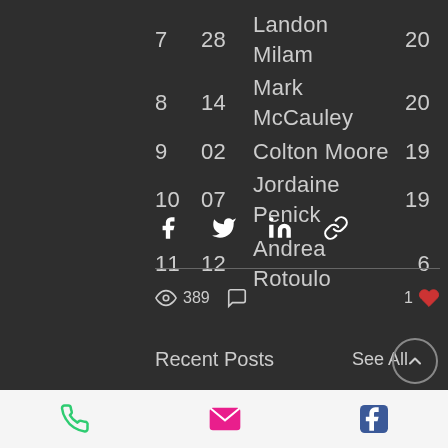7   28   Landon Milam   20
8   14   Mark McCauley   20
9   02   Colton Moore   19
10  07   Jordaine Penick   19
11  12   Andrea Rotoulo   6
[Figure (screenshot): Social sharing icons: Facebook, Twitter, LinkedIn, link]
389 views, 1 like, comment icon
Recent Posts
See All
[Figure (photo): Group photo at racing venue with banner reading THE HOME OF BIG EVENTS]
[Figure (screenshot): Footer navigation icons: phone (green), email (pink), Facebook (blue)]